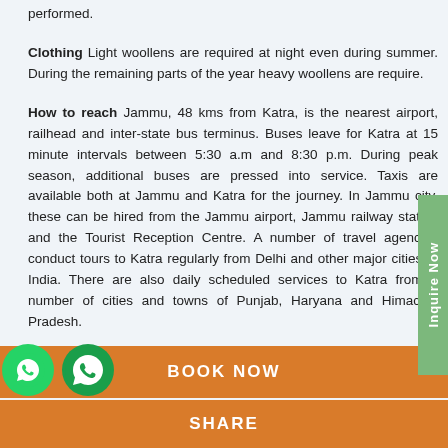performed.
Clothing Light woollens are required at night even during summer. During the remaining parts of the year heavy woollens are require.
How to reach Jammu, 48 kms from Katra, is the nearest airport, railhead and inter-state bus terminus. Buses leave for Katra at 15 minute intervals between 5:30 a.m and 8:30 p.m. During peak season, additional buses are pressed into service. Taxis are available both at Jammu and Katra for the journey. In Jammu city, these can be hired from the Jammu airport, Jammu railway station and the Tourist Reception Centre. A number of travel agencies conduct tours to Katra regularly from Delhi and other major cities of India. There are also daily scheduled services to Katra from a number of cities and towns of Punjab, Haryana and Himachal Pradesh.
BOOK NOW
SHARE